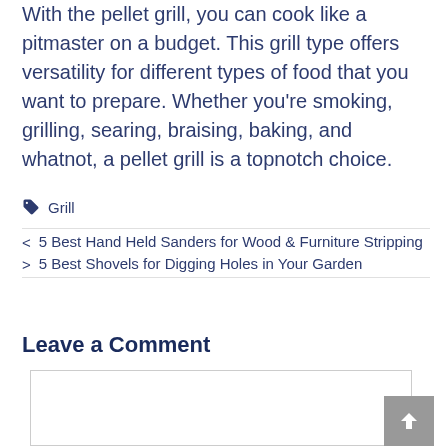With the pellet grill, you can cook like a pitmaster on a budget. This grill type offers versatility for different types of food that you want to prepare. Whether you're smoking, grilling, searing, braising, baking, and whatnot, a pellet grill is a topnotch choice.
Grill
5 Best Hand Held Sanders for Wood & Furniture Stripping
5 Best Shovels for Digging Holes in Your Garden
Leave a Comment